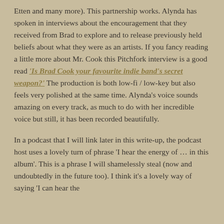Etten and many more). This partnership works. Alynda has spoken in interviews about the encouragement that they received from Brad to explore and to release previously held beliefs about what they were as an artists. If you fancy reading a little more about Mr. Cook this Pitchfork interview is a good read 'Is Brad Cook your favourite indie band's secret weapon?' The production is both low-fi / low-key but also feels very polished at the same time. Alynda's voice sounds amazing on every track, as much to do with her incredible voice but still, it has been recorded beautifully.
In a podcast that I will link later in this write-up, the podcast host uses a lovely turn of phrase 'I hear the energy of … in this album'. This is a phrase I will shamelessly steal (now and undoubtedly in the future too). I think it's a lovely way of saying 'I can hear the